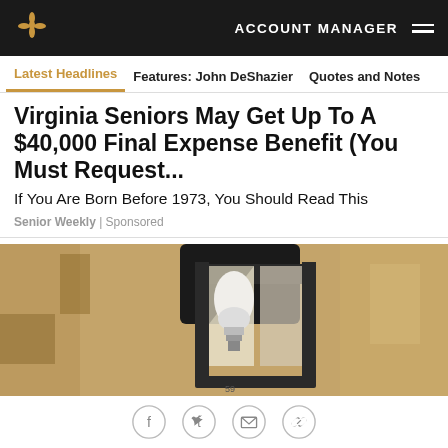ACCOUNT MANAGER
Latest Headlines | Features: John DeShazier | Quotes and Notes
Virginia Seniors May Get Up To A $40,000 Final Expense Benefit (You Must Request...
If You Are Born Before 1973, You Should Read This
Senior Weekly | Sponsored
[Figure (photo): A sepia-toned photograph of an outdoor wall-mounted lantern light fixture with a clear glass enclosure and black metal frame, mounted against a textured stucco wall.]